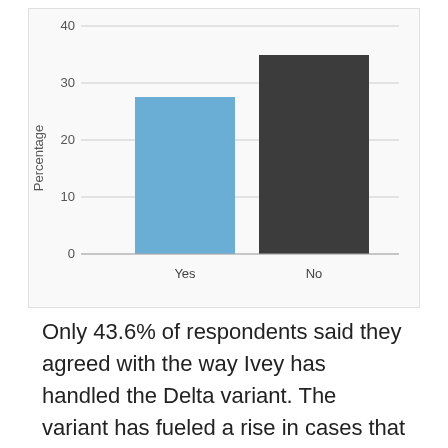[Figure (bar-chart): ]
Only 43.6% of respondents said they agreed with the way Ivey has handled the Delta variant. The variant has fueled a rise in cases that is straining the state's hospital network.